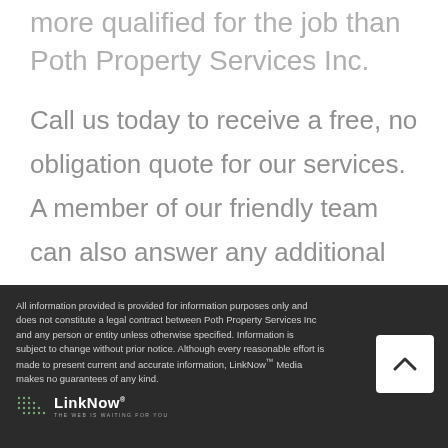more qualified for the job than Poth Property Services Inc.
Call us today to receive a free, no obligation quote for our services. A member of our friendly team can also answer any additional questions you may have about custom projects.
All information provided is provided for information purposes only and does not constitute a legal contract between Poth Property Services Inc and any person or entity unless otherwise specified. Information is subject to change without prior notice. Although every reasonable effort is made to present current and accurate information, LinkNow™ Media makes no guarantees of any kind.
[Figure (logo): LinkNow Media logo with dot grid pattern and tagline THE WEB IS WAITING FOR YOU]